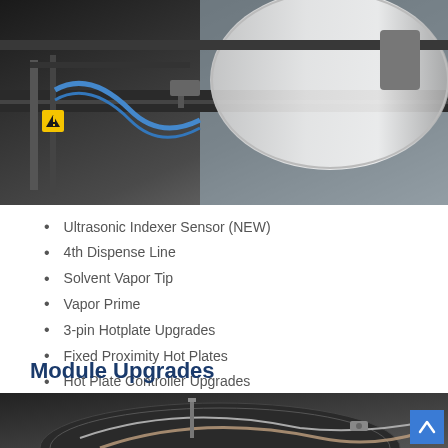[Figure (photo): Industrial equipment showing a robotic arm or dispense mechanism with a large wafer carrier/disk and blue tubing, on a black metal track system with yellow warning label visible.]
Ultrasonic Indexer Sensor (NEW)
4th Dispense Line
Solvent Vapor Tip
Vapor Prime
3-pin Hotplate Upgrades
Fixed Proximity Hot Plates
Hot Plate Controller Upgrades
High Torque Indexers
Module Upgrades
[Figure (photo): Close-up of industrial module equipment showing dark circular plate with curved wiring/tubing and metallic components against a dark background.]